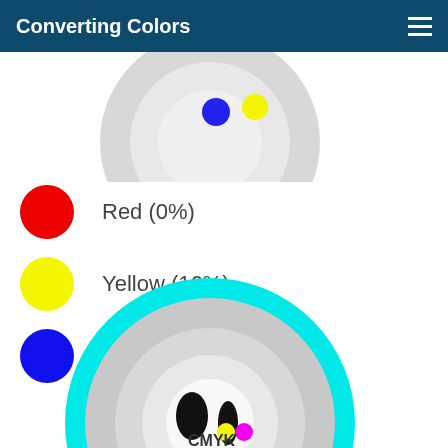Converting Colors
[Figure (illustration): Partial color wheel diagram, gray with blue and yellow dots visible at top, cropped at top of page]
Red (0%)
Yellow (16%)
Blue (40%)
[Figure (illustration): CMYK color wheel diagram with cyan outer ring, gray body, black and colored dots in center, partially cropped at bottom of page, labeled CMYK]